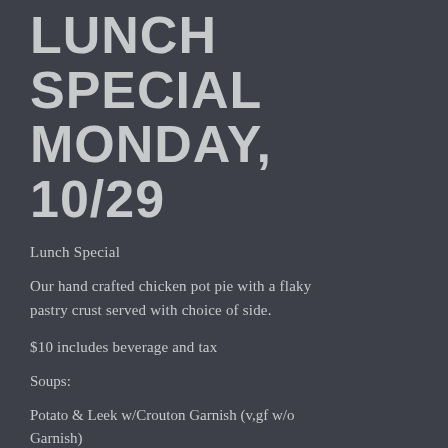LUNCH SPECIAL MONDAY, 10/29
Lunch Special
Our hand crafted chicken pot pie with a flaky pastry crust served with choice of side.
$10 includes beverage and tax
Soups:
Potato & Leek w/Crouton Garnish (v,gf w/o Garnish)
Or